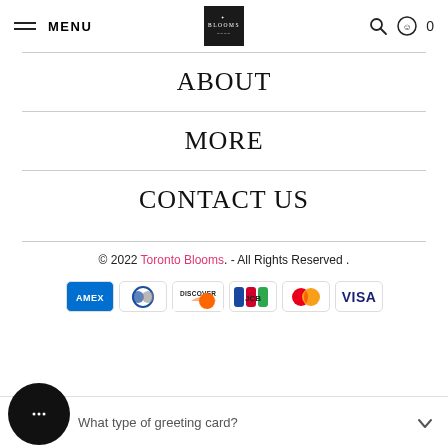MENU | BLOOMS logo | search icon | cart 0
ABOUT
MORE
CONTACT US
© 2022 Toronto Blooms. - All Rights Reserved .
[Figure (infographic): Payment method icons: American Express (AMEX, blue), Diners Club (blue/dark), Discover (orange/white), JCB (blue/green), Mastercard (red/orange circles), Visa (blue text on white)]
What type of greeting card?